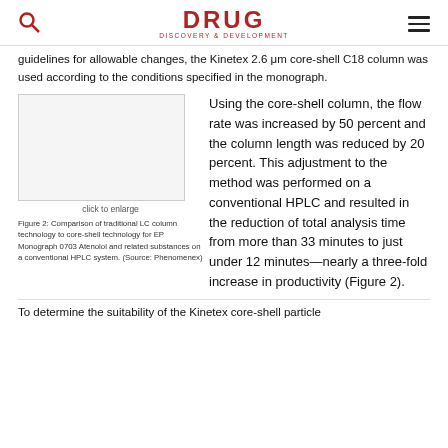DRUG DISCOVERY & DEVELOPMENT
guidelines for allowable changes, the Kinetex 2.6 μm core-shell C18 column was used according to the conditions specified in the monograph.
[Figure (other): Figure placeholder with click to enlarge link showing LC column comparison chromatograms]
Figure 2: Comparison of traditional LC column technology to core-shell technology for EP Monograph 0703 Atenolol and related substances on a conventional HPLC system. (Source: Phenomenex)
Using the core-shell column, the flow rate was increased by 50 percent and the column length was reduced by 20 percent. This adjustment to the method was performed on a conventional HPLC and resulted in the reduction of total analysis time from more than 33 minutes to just under 12 minutes—nearly a three-fold increase in productivity (Figure 2).
To determine the suitability of the Kinetex core-shell particle